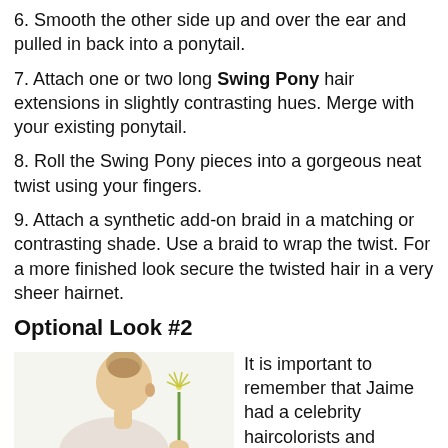6. Smooth the other side up and over the ear and pulled in back into a ponytail.
7. Attach one or two long Swing Pony hair extensions in slightly contrasting hues. Merge with your existing ponytail.
8. Roll the Swing Pony pieces into a gorgeous neat twist using your fingers.
9. Attach a synthetic add-on braid in a matching or contrasting shade. Use a braid to wrap the twist. For a more finished look secure the twisted hair in a very sheer hairnet.
Optional Look #2
[Figure (photo): Photo of a person with an updo hairstyle holding a flower, viewed from the side/back.]
It is important to remember that Jaime had a celebrity haircolorists and